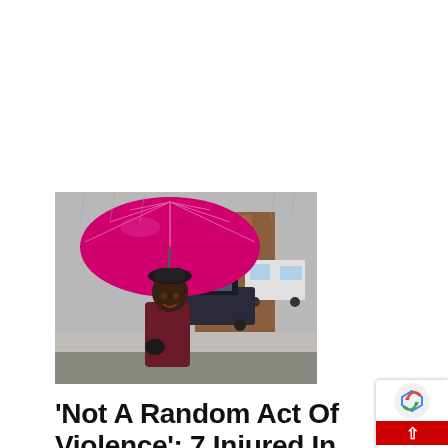[Figure (photo): An elderly Black woman holding a large magenta/hot-pink umbrella on a rainy street, wearing a dark hat and burgundy coat with black gloves. Buildings and a parked car visible in the background.]
'Not A Random Act Of Violence': 7 Injured In Multiple Shootings In